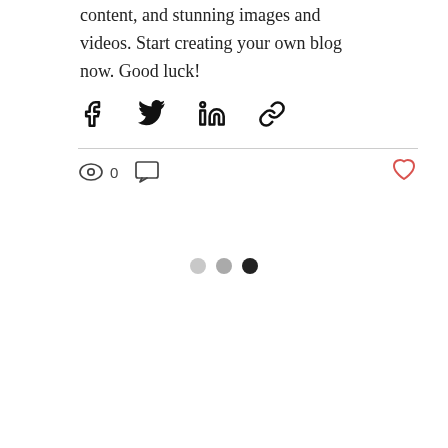content, and stunning images and videos. Start creating your own blog now. Good luck!
[Figure (other): Social share icons: Facebook, Twitter, LinkedIn, Link]
[Figure (other): Engagement bar with eye/view icon showing 0 views, comment icon, and red heart/like icon]
[Figure (other): Pagination dots: light gray, medium gray, dark black]